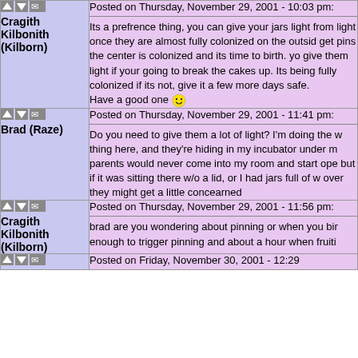Cragith Kilbonith (Kilborn)
Posted on Thursday, November 29, 2001 - 10:03 pm:
Its a prefrence thing, you can give your jars light from light once they are almost fully colonized on the outside get pins the center is colonized and its time to birth. yo give them light if your going to break the cakes up. Its being fully colonized if its not, give it a few more days safe. Have a good one
Brad (Raze)
Posted on Thursday, November 29, 2001 - 11:41 pm:
Do you need to give them a lot of light? I'm doing the w thing here, and they're hiding in my incubator under m parents would never come into my room and start ope but if it was sitting there w/o a lid, or I had jars full of w over they might get a little concearned
Cragith Kilbonith (Kilborn)
Posted on Thursday, November 29, 2001 - 11:56 pm:
brad are you wondering about pinning or when you bir enough to trigger pinning and about a hour when fruiti
Posted on Friday, November 30, 2001 - 12:29